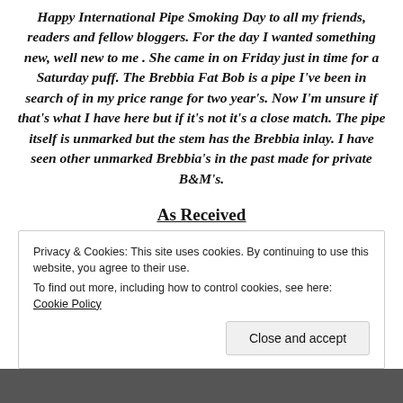Happy International Pipe Smoking Day to all my friends, readers and fellow bloggers. For the day I wanted something new, well new to me . She came in on Friday just in time for a Saturday puff. The Brebbia Fat Bob is a pipe I've been in search of in my price range for two year's. Now I'm unsure if that's what I have here but if it's not it's a close match. The pipe itself is unmarked but the stem has the Brebbia inlay. I have seen other unmarked Brebbia's in the past made for private B&M's.
As Received
Privacy & Cookies: This site uses cookies. By continuing to use this website, you agree to their use.
To find out more, including how to control cookies, see here: Cookie Policy